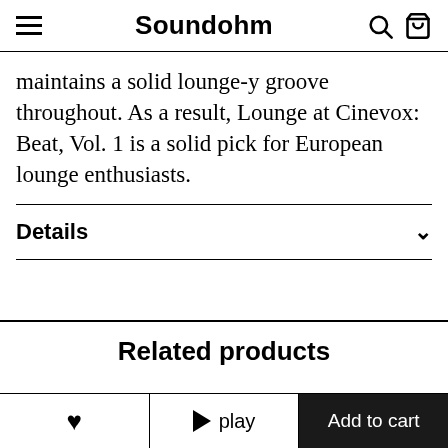Soundohm
maintains a solid lounge-y groove throughout. As a result, Lounge at Cinevox: Beat, Vol. 1 is a solid pick for European lounge enthusiasts.
Details
Related products
♥   ▶ play   Add to cart